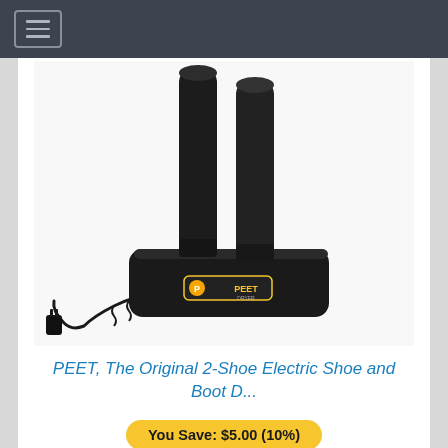[Figure (photo): PEET 2-Shoe Electric Shoe and Boot Dryer product photo showing a black base unit with two tall black tube posts extending upward, a power cord with plug visible to the left, and the PEET logo on the base.]
PEET, The Original 2-Shoe Electric Shoe and Boot D...
You Save: $5.00 (10%)